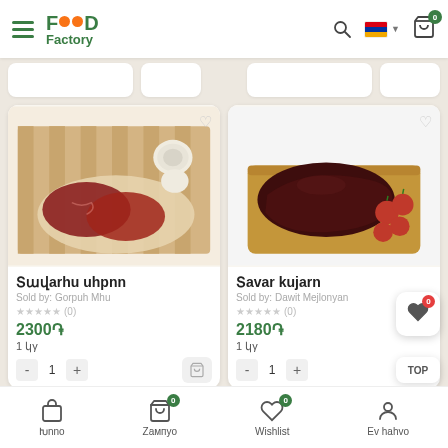Food Factory — navigation header with logo, search, language selector, cart (0)
[Figure (photo): Beef/lamb heart pieces on butcher paper with onion, on wooden cutting board]
Տավարի սիրտ
Sold by: Գooruh մhu
★★★★★ (0)
2300֏
1 կգ
[Figure (photo): Large beef/lamb liver on wooden tray with cherry tomatoes]
Տավարի կarrd
Sold by: Դaved Մejonyan
★★★★★ (0)
2180֏
1 կγ
Խanot — Zampyot 0 — Wishlist 0 — Ev hahvo